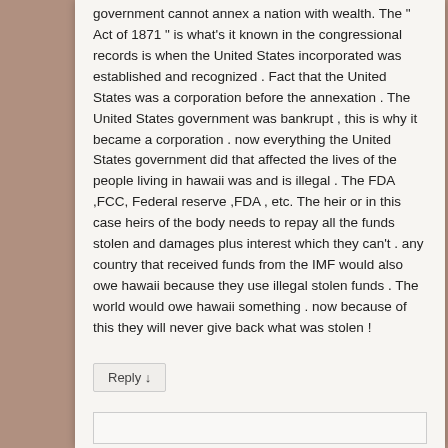government cannot annex a nation with wealth. The " Act of 1871 " is what's it known in the congressional records is when the United States incorporated was established and recognized . Fact that the United States was a corporation before the annexation . The United States government was bankrupt , this is why it became a corporation . now everything the United States government did that affected the lives of the people living in hawaii was and is illegal . The FDA ,FCC, Federal reserve ,FDA , etc. The heir or in this case heirs of the body needs to repay all the funds stolen and damages plus interest which they can't . any country that received funds from the IMF would also owe hawaii because they use illegal stolen funds . The world would owe hawaii something . now because of this they will never give back what was stolen !
Reply ↓